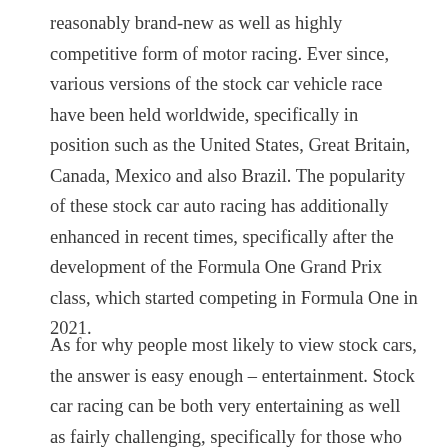reasonably brand-new as well as highly competitive form of motor racing. Ever since, various versions of the stock car vehicle race have been held worldwide, specifically in position such as the United States, Great Britain, Canada, Mexico and also Brazil. The popularity of these stock car auto racing has additionally enhanced in recent times, specifically after the development of the Formula One Grand Prix class, which started competing in Formula One in 2021.
As for why people most likely to view stock cars, the answer is easy enough – entertainment. Stock car racing can be both very entertaining as well as fairly challenging, specifically for those who do not always have a lot of experience in driving or the associated